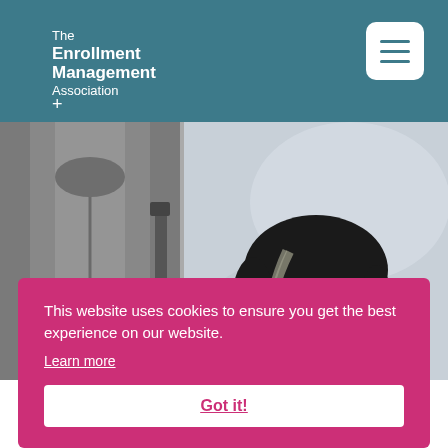The Enrollment Management Association
[Figure (photo): Two people: left side shows a person in a gray jacket/hoodie with a bag strap, right side shows a smiling young woman with dark hair highlighted with lighter streaks, blurred background]
This website uses cookies to ensure you get the best experience on our website.
Learn more
Got it!